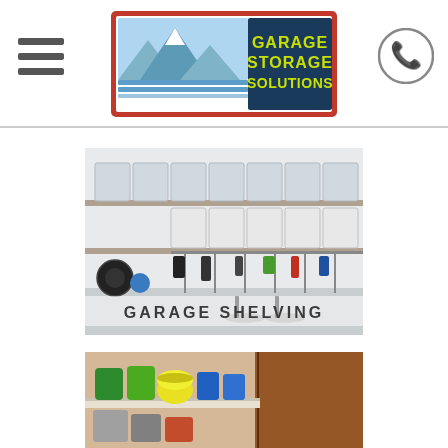Garage Storage Solutions - Navigation header with logo and phone icon
[Figure (photo): Garage shelving photo showing metal shelving units with white storage bins and sports equipment hanging on wall-mounted racks, with text overlay reading GARAGE SHELVING]
[Figure (photo): Close-up photo of garage cabinet shelving with cans and bottles stored on a shelf next to a brown wooden cabinet panel]